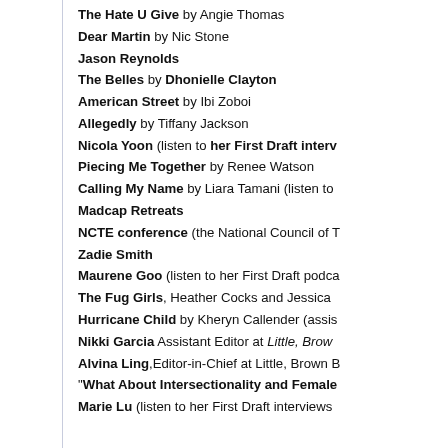The Hate U Give by Angie Thomas
Dear Martin by Nic Stone
Jason Reynolds
The Belles by Dhonielle Clayton
American Street by Ibi Zoboi
Allegedly by Tiffany Jackson
Nicola Yoon (listen to her First Draft interv…
Piecing Me Together by Renee Watson
Calling My Name by Liara Tamani (listen to…
Madcap Retreats
NCTE conference (the National Council of T…
Zadie Smith
Maurene Goo (listen to her First Draft podca…
The Fug Girls, Heather Cocks and Jessica…
Hurricane Child by Kheryn Callender (assis…
Nikki Garcia Assistant Editor at Little, Brow…
Alvina Ling, Editor-in-Chief at Little, Brown B…
"What About Intersectionality and Female…
Marie Lu (listen to her First Draft interviews…